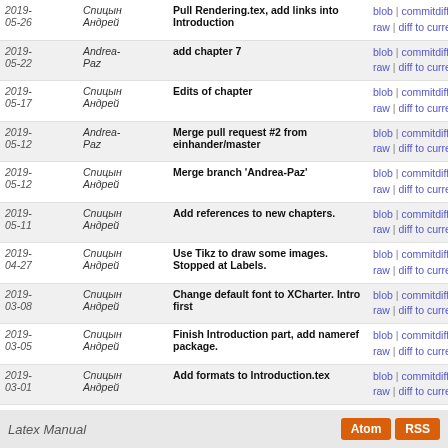| Date | Author | Message | Links |
| --- | --- | --- | --- |
| 2019-05-26 | Спицын Андрей | Pull Rendering.tex, add links into Introduction | blob | commitdiff | raw | diff to current |
| 2019-05-22 | Andrea-Paz | add chapter 7 | blob | commitdiff | raw | diff to current |
| 2019-05-17 | Спицын Андрей | Edits of chapter | blob | commitdiff | raw | diff to current |
| 2019-05-12 | Andrea-Paz | Merge pull request #2 from einhander/master | blob | commitdiff | raw | diff to current |
| 2019-05-12 | Спицын Андрей | Merge branch 'Andrea-Paz' | blob | commitdiff | raw | diff to current |
| 2019-05-11 | Спицын Андрей | Add references to new chapters. | blob | commitdiff | raw | diff to current |
| 2019-04-27 | Спицын Андрей | Use Tikz to draw some images. Stopped at Labels. | blob | commitdiff | raw | diff to current |
| 2019-03-08 | Спицын Андрей | Change default font to XCharter. Intro first | blob | commitdiff | raw | diff to current |
| 2019-03-05 | Спицын Андрей | Finish Introduction part, add nameref package. | blob | commitdiff | raw | diff to current |
| 2019-03-01 | Спицын Андрей | Add formats to Introduction.tex | blob | commitdiff | raw | diff to current |
| 2019-03-01 | Спицын Андрей | Add tex files and images | blob | commitdiff | raw | diff to current |
Latex Manual    Atom  RSS